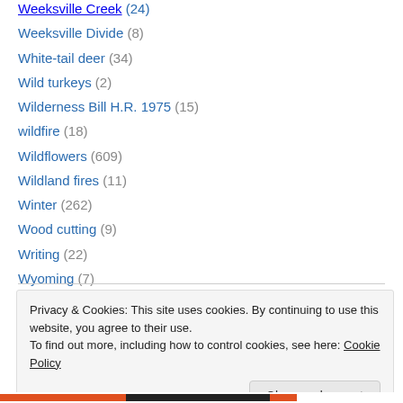Weeksville Creek (24)
Weeksville Divide (8)
White-tail deer (34)
Wild turkeys (2)
Wilderness Bill H.R. 1975 (15)
wildfire (18)
Wildflowers (609)
Wildland fires (11)
Winter (262)
Wood cutting (9)
Writing (22)
Wyoming (7)
Privacy & Cookies: This site uses cookies. By continuing to use this website, you agree to their use. To find out more, including how to control cookies, see here: Cookie Policy
Close and accept